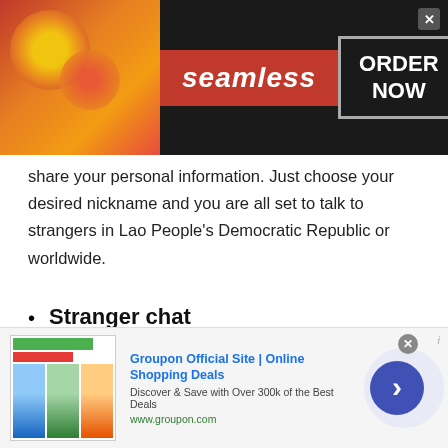[Figure (screenshot): Seamless food delivery advertisement banner with pizza image on the left, red 'seamless' logo in center, and 'ORDER NOW' button on the right, on dark background. Close button (x) in top-right corner.]
share your personal information. Just choose your desired nickname and you are all set to talk to strangers in Lao People's Democratic Republic or worldwide.
Stranger chat
TWS stranger chat is completely safe, secure and convenient for all. Yes, as we said earlier, you are not required to share your personal information with anyone. So, you can make your chat secret and talk
[Figure (screenshot): Groupon Official Site advertisement banner at the bottom of the page showing website screenshot thumbnail, title 'Groupon Official Site | Online Shopping Deals', subtitle 'Discover & Save with Over 300k of the Best Deals', URL 'www.groupon.com', with a blue circular arrow button and close (x) button.]